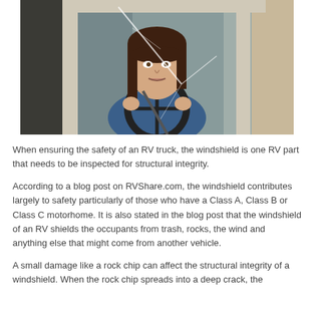[Figure (photo): A woman with brown hair sitting in the driver's seat of a vehicle, gripping the steering wheel, viewed through a cracked windshield from outside the car.]
When ensuring the safety of an RV truck, the windshield is one RV part that needs to be inspected for structural integrity.
According to a blog post on RVShare.com, the windshield contributes largely to safety particularly of those who have a Class A, Class B or Class C motorhome. It is also stated in the blog post that the windshield of an RV shields the occupants from trash, rocks, the wind and anything else that might come from another vehicle.
A small damage like a rock chip can affect the structural integrity of a windshield. When the rock chip spreads into a deep crack, the